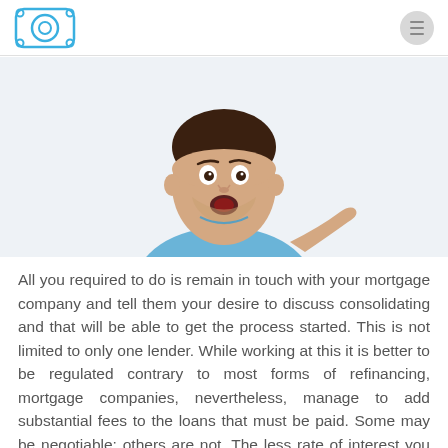Logo and navigation menu
[Figure (photo): A surprised young man with dark hair and beard, wearing a light blue t-shirt, with his mouth open and hand raised, isolated on white background.]
All you required to do is remain in touch with your mortgage company and tell them your desire to discuss consolidating and that will be able to get the process started. This is not limited to only one lender. While working at this it is better to be regulated contrary to most forms of refinancing, mortgage companies, nevertheless, manage to add substantial fees to the loans that must be paid. Some may be negotiable; others are not. The less rate of interest you pay on your student loans, then quickly you can get out